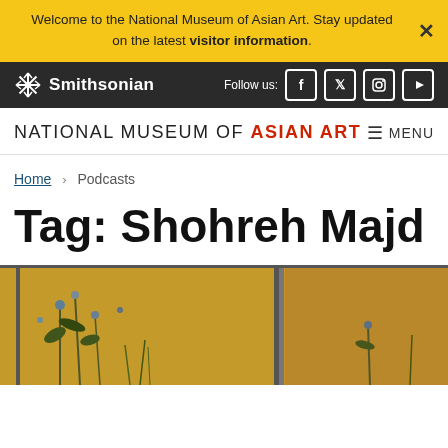Welcome to the National Museum of Asian Art. Stay updated on the latest visitor information.
Smithsonian · Follow us: [Facebook] [Twitter] [Instagram] [YouTube]
NATIONAL MUSEUM of ASIAN ART  ≡ MENU
Home › Podcasts
Tag: Shohreh Majd
[Figure (photo): A Japanese folding screen painting with floral and plant motifs on gold background, shown in two panels side by side.]